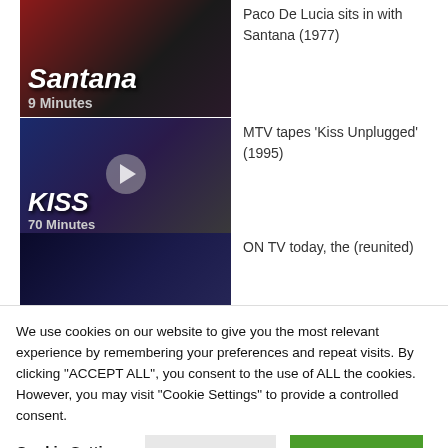[Figure (screenshot): Santana video thumbnail - dark red and black background with 'Santana' text and '9 Minutes' label]
Paco De Lucia sits in with Santana (1977)
[Figure (screenshot): KISS video thumbnail - dark blue/purple background with 'KISS' text, '70 Minutes' label, and play button overlay]
MTV tapes 'Kiss Unplugged' (1995)
[Figure (screenshot): Sex Pistols video thumbnail - dark navy background with 'Sex Pistols' text and '3 Minutes' label]
ON TV today, the (reunited)
We use cookies on our website to give you the most relevant experience by remembering your preferences and repeat visits. By clicking "ACCEPT ALL", you consent to the use of ALL the cookies. However, you may visit "Cookie Settings" to provide a controlled consent.
Cookie Settings
REJECT ALL
ACCEPT ALL